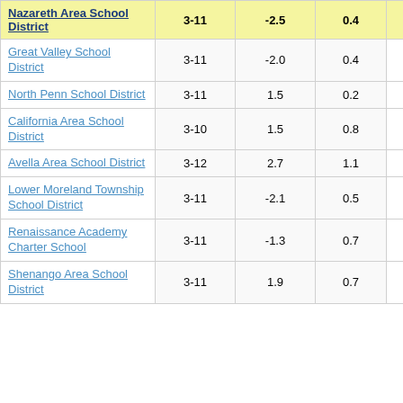| District | Grades | Col3 | Col4 | Score |
| --- | --- | --- | --- | --- |
| Nazareth Area School District | 3-11 | -2.5 | 0.4 | -6.40 |
| Great Valley School District | 3-11 | -2.0 | 0.4 | -5.13 |
| North Penn School District | 3-11 | 1.5 | 0.2 | 6.31 |
| California Area School District | 3-10 | 1.5 | 0.8 | 1.83 |
| Avella Area School District | 3-12 | 2.7 | 1.1 | 2.45 |
| Lower Moreland Township School District | 3-11 | -2.1 | 0.5 | -4.36 |
| Renaissance Academy Charter School | 3-11 | -1.3 | 0.7 | -1.72 |
| Shenango Area School District | 3-11 | 1.9 | 0.7 | 2.73 |